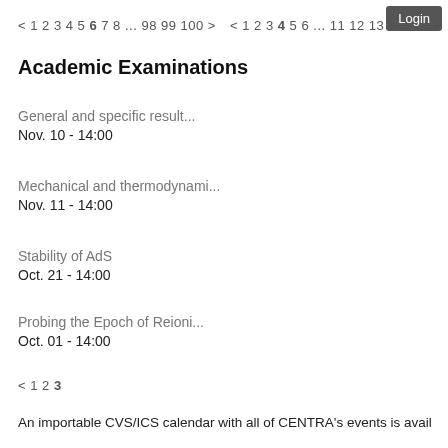< 1 2 3 4 5 6 7 8 ... 98 99 100 >
< 1 2 3 4 5 6 ... 11 12 13 >
Academic Examinations
General and specific result...
Nov. 10 - 14:00
Mechanical and thermodynami...
Nov. 11 - 14:00
Stability of AdS
Oct. 21 - 14:00
Probing the Epoch of Reioni...
Oct. 01 - 14:00
< 1 2 3
An importable CVS/ICS calendar with all of CENTRA's events is avail